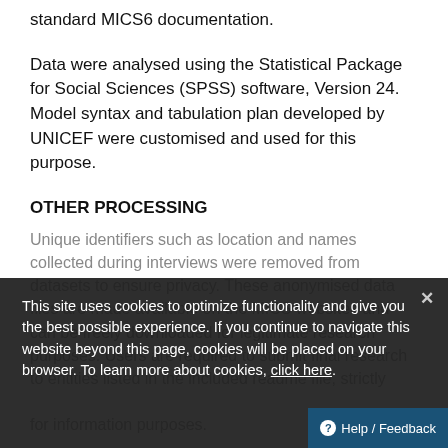standard MICS6 documentation.
Data were analysed using the Statistical Package for Social Sciences (SPSS) software, Version 24. Model syntax and tabulation plan developed by UNICEF were customised and used for this purpose.
OTHER PROCESSING
Unique identifiers such as location and names collected during interviews were removed from datasets to ensure privacy. These anonymised data files are made available on the MICS websites and can be freely downloaded for legitimate research purposes. Users are required to submit final research to entities listed in the included readme file, strictly for information purposes.
This site uses cookies to optimize functionality and give you the best possible experience. If you continue to navigate this website beyond this page, cookies will be placed on your browser. To learn more about cookies, click here.